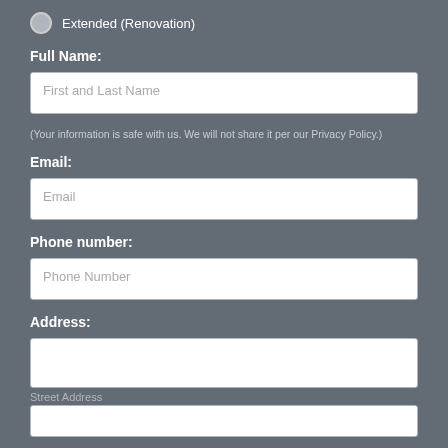Extended (Renovation)
Full Name:
First and Last Name
(Your information is safe with us. We will not share it per our Privacy Policy.)
Email:
Email
Phone number:
Phone Number
Address:
Street Address